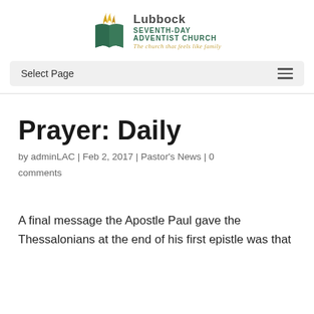[Figure (logo): Lubbock Seventh-day Adventist Church logo with flame/book icon and tagline 'The church that feels like family']
Select Page
Prayer: Daily
by adminLAC | Feb 2, 2017 | Pastor's News | 0 comments
A final message the Apostle Paul gave the Thessalonians at the end of his first epistle was that